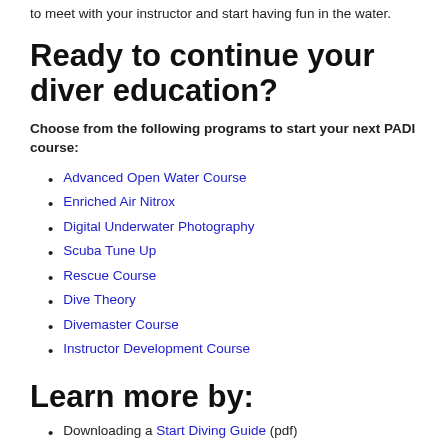to meet with your instructor and start having fun in the water.
Ready to continue your diver education?
Choose from the following programs to start your next PADI course:
Advanced Open Water Course
Enriched Air Nitrox
Digital Underwater Photography
Scuba Tune Up
Rescue Course
Dive Theory
Divemaster Course
Instructor Development Course
Learn more by:
Downloading a Start Diving Guide (pdf)